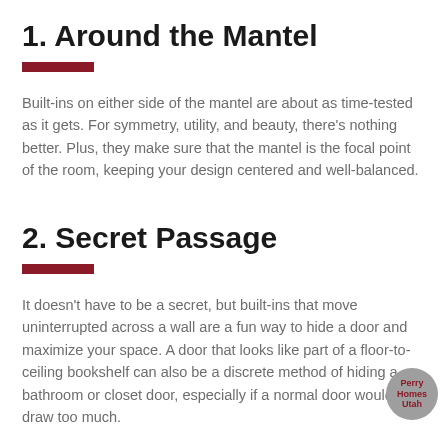1. Around the Mantel
Built-ins on either side of the mantel are about as time-tested as it gets. For symmetry, utility, and beauty, there's nothing better. Plus, they make sure that the mantel is the focal point of the room, keeping your design centered and well-balanced.
2. Secret Passage
It doesn't have to be a secret, but built-ins that move uninterrupted across a wall are a fun way to hide a door and maximize your space. A door that looks like part of a floor-to-ceiling bookshelf can also be a discrete method of hiding a bathroom or closet door, especially if a normal door would draw too much.